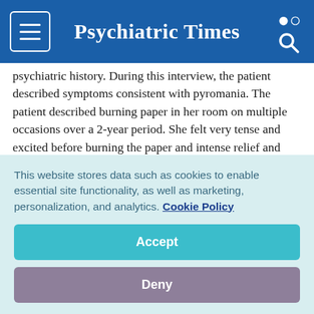Psychiatric Times
psychiatric history. During this interview, the patient described symptoms consistent with pyromania. The patient described burning paper in her room on multiple occasions over a 2-year period. She felt very tense and excited before burning the paper and intense relief and pleasure afterward. She had an intense curiosity and attraction to how the fire burned paper.
This fascination became more complicated 12 months
This website stores data such as cookies to enable essential site functionality, as well as marketing, personalization, and analytics. Cookie Policy
Accept
Deny